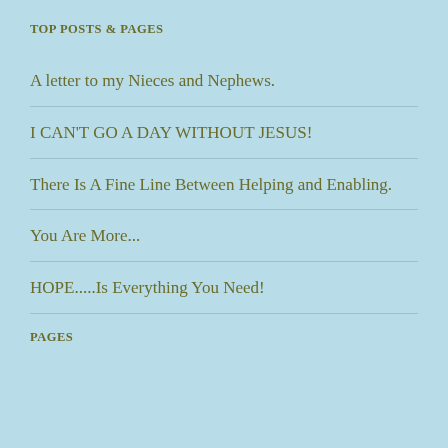TOP POSTS & PAGES
A letter to my Nieces and Nephews.
I CAN'T GO A DAY WITHOUT JESUS!
There Is A Fine Line Between Helping and Enabling.
You Are More...
HOPE.....Is Everything You Need!
PAGES